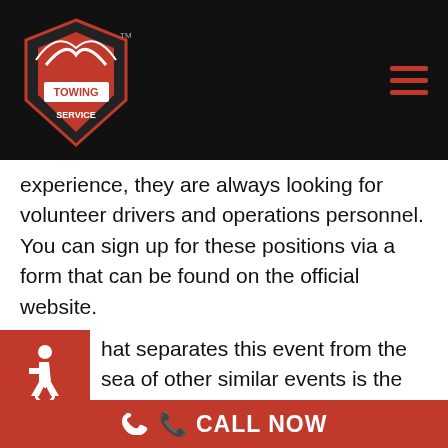Phoenix Towing Service
experience, they are always looking for volunteer drivers and operations personnel. You can sign up for these positions via a form that can be found on the official website.
[Figure (illustration): Accessibility icon (wheelchair symbol) in white on red background]
hat separates this event from the sea of other similar events is the authentic concept of
We use cookies on our website to give you the most relevant experience by remembering your preferences and repeat visits. By clicking "Accept", you consent to the use of ALL the cookies.
Cookie settings   ACCEPT
CALL NOW